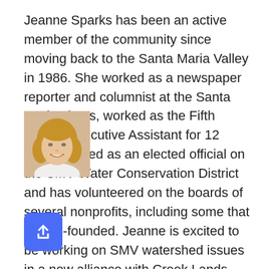Jeanne Sparks has been an active member of the community since moving back to the Santa Maria Valley in 1986. She worked as a newspaper reporter and columnist at the Santa Maria Times, worked as the Fifth District Executive Assistant for 12 years, served as an elected official on the SMV Water Conservation District and has volunteered on the boards of several nonprofits, including some that she co-founded. Jeanne is excited to be working on SMV watershed issues in a new alliance with Creek Lands
[Figure (photo): Headshot of Jeanne Sparks, a woman with blonde hair wearing a white top, smiling]